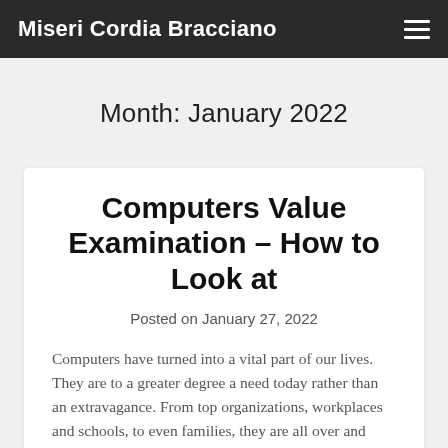Miseri Cordia Bracciano
Month: January 2022
Computers Value Examination – How to Look at
Posted on January 27, 2022
Computers have turned into a vital part of our lives. They are to a greater degree a need today rather than an extravagance. From top organizations, workplaces and schools, to even families, they are all over and developing continuously. Reasoning along these lines, the